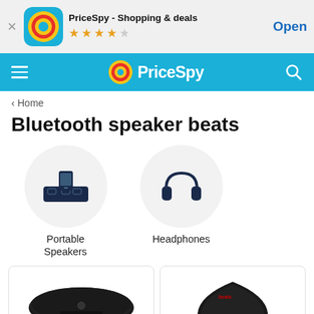[Figure (screenshot): App store banner for PriceSpy - Shopping & deals with 4-star rating and Open button]
[Figure (screenshot): PriceSpy navigation bar with hamburger menu, logo, and search icon]
< Home
Bluetooth speaker beats
[Figure (illustration): Portable Speakers category icon - circular grey background with speaker dock icon]
[Figure (illustration): Headphones category icon - circular grey background with headphones icon]
Portable Speakers
Headphones
[Figure (photo): Black Beats pill-shaped bluetooth speaker product photo]
[Figure (photo): Black dome-shaped bluetooth speaker product photo]